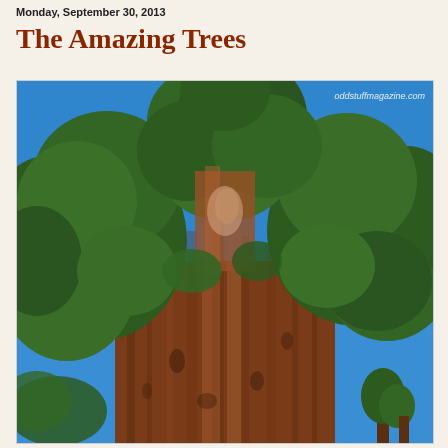Monday, September 30, 2013
The Amazing Trees
[Figure (photo): Upward-looking photograph of a giant sequoia tree with reddish-brown bark in the foreground, dense green foliage canopy at the top, against a bright blue sky. Watermark: oddstuffmagazine.com]